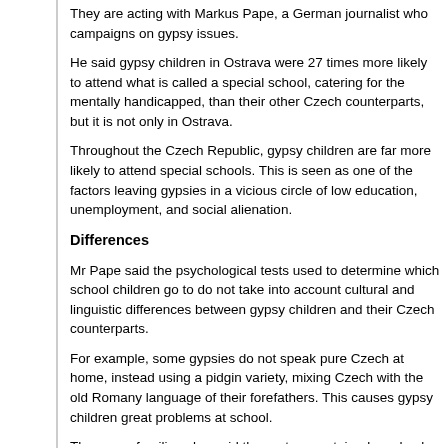They are acting with Markus Pape, a German journalist who campaigns on gypsy issues.
He said gypsy children in Ostrava were 27 times more likely to attend what is called a special school, catering for the mentally handicapped, than their other Czech counterparts, but it is not only in Ostrava.
Throughout the Czech Republic, gypsy children are far more likely to attend special schools. This is seen as one of the factors leaving gypsies in a vicious circle of low education, unemployment, and social alienation.
Differences
Mr Pape said the psychological tests used to determine which school children go to do not take into account cultural and linguistic differences between gypsy children and their Czech counterparts.
For example, some gypsies do not speak pure Czech at home, instead using a pidgin variety, mixing Czech with the old Romany language of their forefathers. This causes gypsy children great problems at school.
The gypsy families also said the system contained no checks and balances to protect their children against simple racism, and this highlights another problem - the atmosphere of deep distrust between gypsy parents and local education authorities.